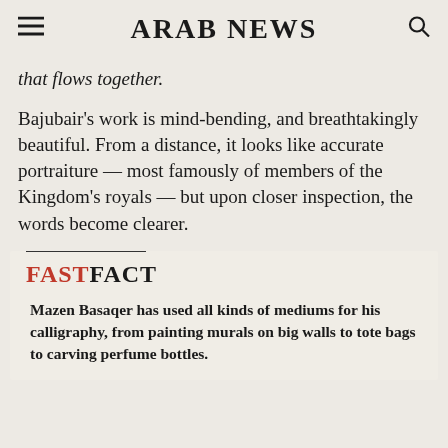ARAB NEWS
that flows together.
Bajubair's work is mind-bending, and breathtakingly beautiful. From a distance, it looks like accurate portraiture — most famously of members of the Kingdom's royals — but upon closer inspection, the words become clearer.
FASTFACT
Mazen Basaqer has used all kinds of mediums for his calligraphy, from painting murals on big walls to tote bags to carving perfume bottles.